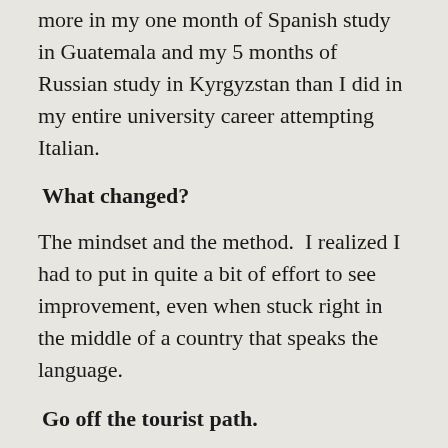more in my one month of Spanish study in Guatemala and my 5 months of Russian study in Kyrgyzstan than I did in my entire university career attempting Italian.
What changed?
The mindset and the method.  I realized I had to put in quite a bit of effort to see improvement, even when stuck right in the middle of a country that speaks the language.
Go off the tourist path.
A big problem for travelers wanting to partake in language study abroad is that they want to choose a popular location, and everyone knows that popular locations are more likely to be tourist locations.  Sure, there's no problem in wanting to be in beautiful surroundings while studying, but it can pose a hotclog